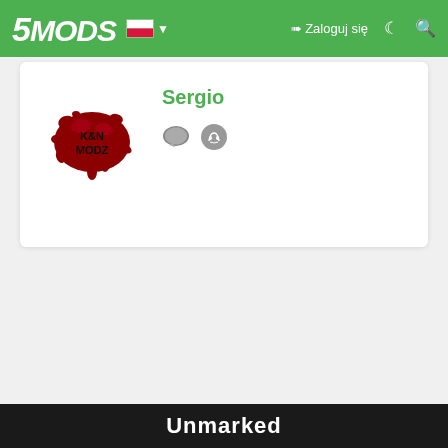5MODS  🇵🇱 ▼   ➜ Zaloguj się  🌙  🔍
[Figure (screenshot): Profile page card showing avatar (blood splat logo with 'K&N MODZ' text) for user 'Sergio' with chat bubble and Discord icons]
Sergio
Unmarked